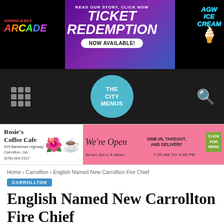[Figure (illustration): Adriana Alba's Arcade advertisement banner with ticket redemption promotion and AGW Ice Cream logo on black background]
[Figure (logo): The City Menus logo in teal circle, navigation bar with grid icon and search icon on dark background]
[Figure (illustration): Rosie's Coffee Cafe advertisement banner. We're Open, Dine-In Takeout and Delivery, Seven Days a Week, 7:00 AM to 4:00 PM, 819 Bankhead Highway Carrollton GA (678) 664-1517]
Home > Carrollton > English Named New Carrollton Fire Chief
CARROLLTON
English Named New Carrollton Fire Chief